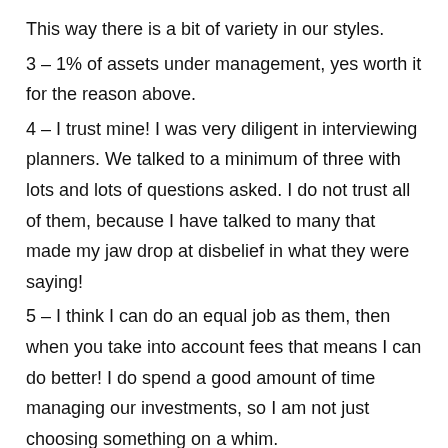This way there is a bit of variety in our styles.
3 – 1% of assets under management, yes worth it for the reason above.
4 – I trust mine! I was very diligent in interviewing planners. We talked to a minimum of three with lots and lots of questions asked. I do not trust all of them, because I have talked to many that made my jaw drop at disbelief in what they were saying!
5 – I think I can do an equal job as them, then when you take into account fees that means I can do better! I do spend a good amount of time managing our investments, so I am not just choosing something on a whim.
Good luck at your appointment!